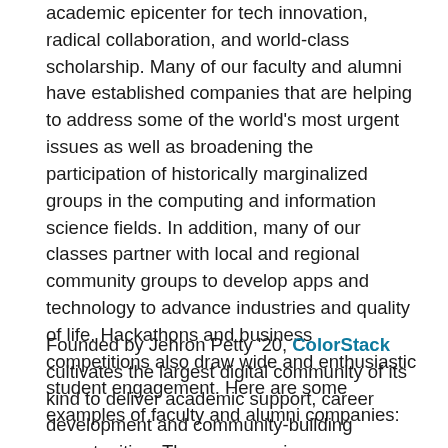academic epicenter for tech innovation, radical collaboration, and world-class scholarship. Many of our faculty and alumni have established companies that are helping to address some of the world's most urgent issues as well as broadening the participation of historically marginalized groups in the computing and information science fields. In addition, many of our classes partner with local and regional community groups to develop apps and technology to advance industries and quality of life. Hackathons and business competitions also draw wide and enthusiastic student engagement. Here are some examples of faculty and alumni companies:
Founded by Jehron Petty '20, ColorStack cultivates the largest digital community of its kind to deliver academic support, career development and community-building opportunities. The program aims